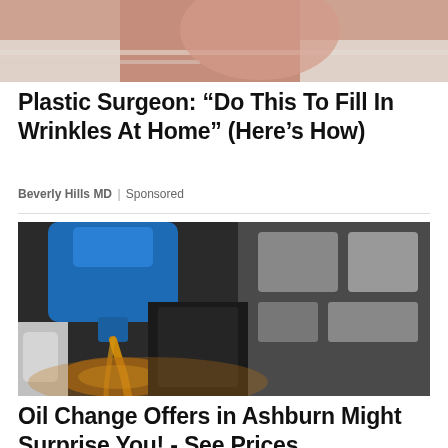[Figure (photo): Cropped image of a person in a white shirt, partial face and neck visible, skin-care advertisement context]
Plastic Surgeon: “Do This To Fill In Wrinkles At Home” (Here’s How)
Beverly Hills MD | Sponsored
[Figure (photo): Close-up photo of a blue bottle of motor oil being poured into a car engine, golden oil stream visible against engine components]
Oil Change Offers in Ashburn Might Surprise You! - See Prices